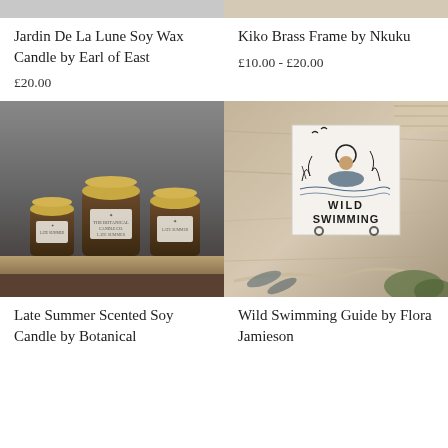[Figure (photo): Partial top of a product image - grey background (Jardin De La Lune Soy Wax Candle)]
[Figure (photo): Partial top of a product image - brass frame on light background (Kiko Brass Frame by Nkuku)]
Jardin De La Lune Soy Wax Candle by Earl of East
£20.00
Kiko Brass Frame by Nkuku
£10.00 - £20.00
[Figure (photo): Three amber glass candle jars with gold lids and white labels reading 'Late Summer', arranged on a stone shelf against a grey background]
[Figure (photo): A square illustrated card reading 'Wild Swimming' with nature illustrations, on a wooden table with scissors and greenery]
Late Summer Scented Soy Candle by Botanical
Wild Swimming Guide by Flora Jamieson